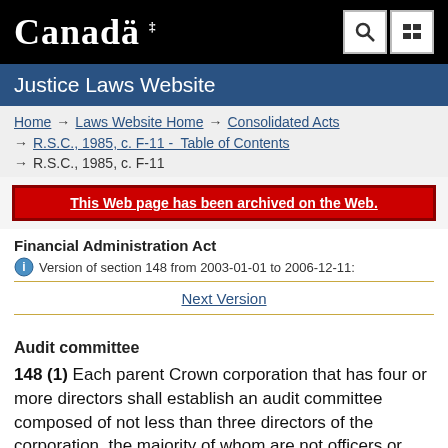Canada | Justice Laws Website
Home → Laws Website Home → Consolidated Acts → R.S.C., 1985, c. F-11 - Table of Contents → R.S.C., 1985, c. F-11
This Web page has been archived on the Web.
Financial Administration Act
Version of section 148 from 2003-01-01 to 2006-12-11:
Next Version
Audit committee
148 (1) Each parent Crown corporation that has four or more directors shall establish an audit committee composed of not less than three directors of the corporation, the majority of whom are not officers or